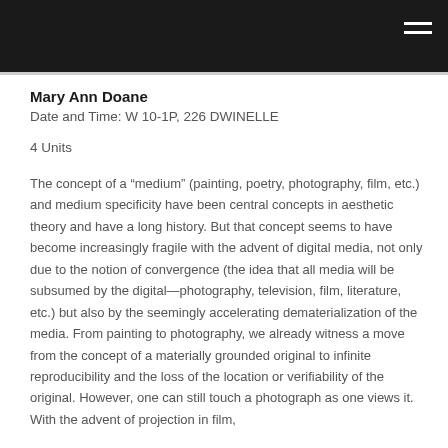Mary Ann Doane
Date and Time: W 10-1P, 226 DWINELLE
4 Units
The concept of a “medium” (painting, poetry, photography, film, etc.) and medium specificity have been central concepts in aesthetic theory and have a long history. But that concept seems to have become increasingly fragile with the advent of digital media, not only due to the notion of convergence (the idea that all media will be subsumed by the digital—photography, television, film, literature, etc.) but also by the seemingly accelerating dematerialization of the media. From painting to photography, we already witness a move from the concept of a materially grounded original to infinite reproducibility and the loss of the location or verifiability of the original. However, one can still touch a photograph as one views it. With the advent of projection in film,